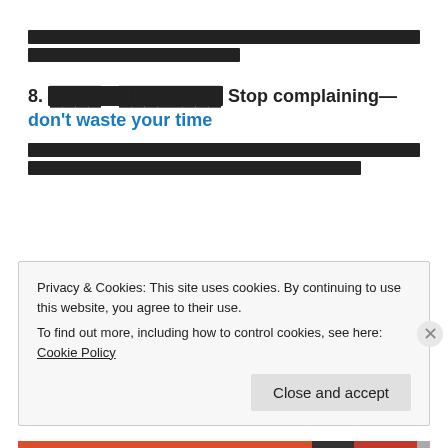[redacted Thai/Asian script paragraph]
8. [redacted] Stop complaining—don't waste your time
[redacted Thai/Asian script paragraph]
Privacy & Cookies: This site uses cookies. By continuing to use this website, you agree to their use. To find out more, including how to control cookies, see here: Cookie Policy
Close and accept